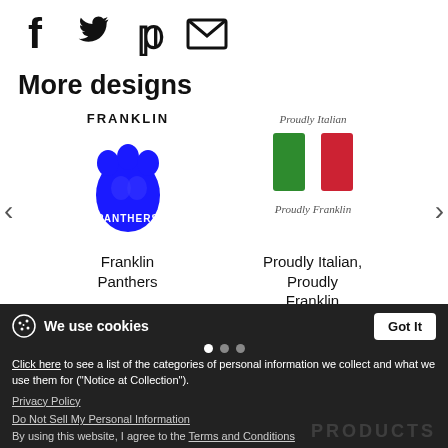[Figure (illustration): Social media share icons: Facebook (f), Twitter (bird), Pinterest (P), Email (envelope)]
More designs
[Figure (illustration): Franklin Panthers logo: blue paw print with FRANKLIN text above and PANTHERS text below]
Franklin Panthers
[Figure (illustration): Proudly Italian, Proudly Franklin design with Italian flag colors (green and red rectangles), italic Proudly Italian text above and Proudly Franklin text below]
Proudly Italian, Proudly Franklin
We use cookies
Click here to see a list of the categories of personal information we collect and what we use them for ("Notice at Collection").
Privacy Policy
Do Not Sell My Personal Information
By using this website, I agree to the Terms and Conditions